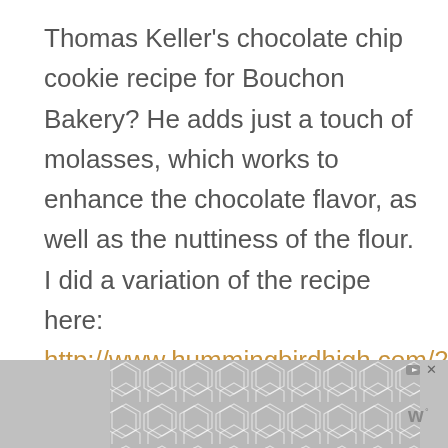Thomas Keller's chocolate chip cookie recipe for Bouchon Bakery? He adds just a touch of molasses, which works to enhance the chocolate flavor, as well as the nuttiness of the flour. I did a variation of the recipe here: http://www.hummingbirdhigh.com/2013/04/blog-cookies-new-column-bouchon-bakery.html and was really pleasantly surprised by the results.
[Figure (other): Advertisement banner with hexagonal tile pattern in gray tones, with ad controls (play/skip and close buttons) in top right, and a stylized 'W' logo watermark on the right side.]